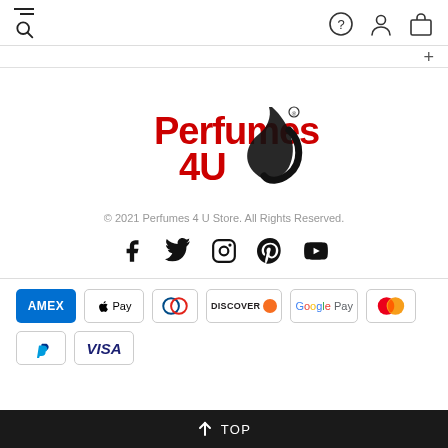Navigation header with menu/search icons and user/bag icons
[Figure (logo): Perfumes 4 U logo with red text and black water droplet/swirl graphic]
© 2021 Perfumes 4 U Store. All Rights Reserved.
[Figure (infographic): Social media icons: Facebook, Twitter, Instagram, Pinterest, YouTube]
[Figure (infographic): Payment method badges: AMEX, Apple Pay, Diners Club, Discover, Google Pay, Mastercard, PayPal, Visa]
↑ TOP